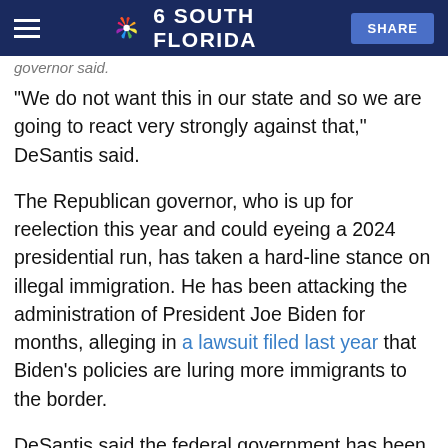NBC 6 South Florida — SHARE
"We do not want this in our state and so we are going to react very strongly against that," DeSantis said.
The Republican governor, who is up for reelection this year and could eyeing a 2024 presidential run, has taken a hard-line stance on illegal immigration. He has been attacking the administration of President Joe Biden for months, alleging in a lawsuit filed last year that Biden's policies are luring more immigrants to the border.
DeSantis said the federal government has been "farming out" people to Florida from the border without telling the state how many are coming or giving any information including their COVID status or possible criminal record.